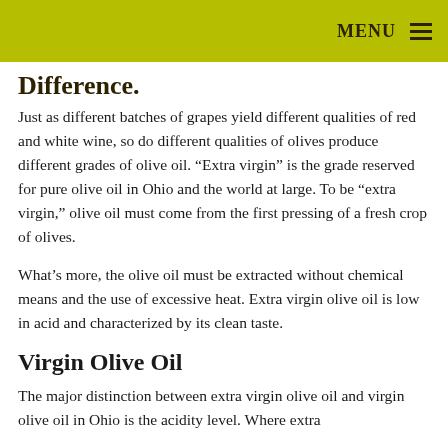MENU
Difference.
Just as different batches of grapes yield different qualities of red and white wine, so do different qualities of olives produce different grades of olive oil. “Extra virgin” is the grade reserved for pure olive oil in Ohio and the world at large. To be “extra virgin,” olive oil must come from the first pressing of a fresh crop of olives.
What’s more, the olive oil must be extracted without chemical means and the use of excessive heat. Extra virgin olive oil is low in acid and characterized by its clean taste.
Virgin Olive Oil
The major distinction between extra virgin olive oil and virgin olive oil in Ohio is the acidity level. Where extra